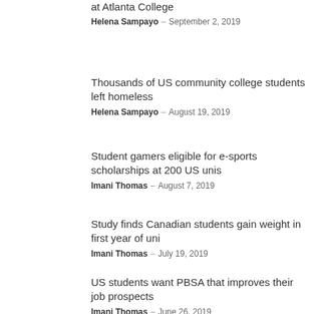at Atlanta College
Helena Sampayo – September 2, 2019
Thousands of US community college students left homeless
Helena Sampayo – August 19, 2019
Student gamers eligible for e-sports scholarships at 200 US unis
Imani Thomas – August 7, 2019
Study finds Canadian students gain weight in first year of uni
Imani Thomas – July 19, 2019
US students want PBSA that improves their job prospects
Imani Thomas – June 26, 2019